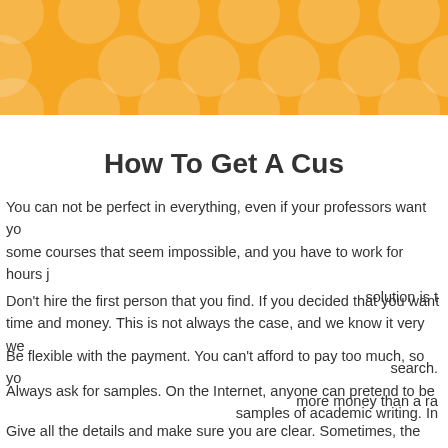[Figure (illustration): Yellow/orange banner header with polka dot circle pattern in lighter yellow]
How To Get A Cus
You can not be perfect in everything, even if your professors want you to be. There are some courses that seem impossible, and you have to work for hours just to understand them. The solution is t
Don't hire the first person that you find. If you decided that you want to save both time and money. This is not always the case, and we know it very well. You should search.
Be flexible with the payment. You can't afford to pay too much, so you should not spend more money than a ra
Always ask for samples. On the Internet, anyone can pretend to be and expert. Ask for samples of academic writing. In
Give all the details and make sure you are clear. Sometimes, the pers